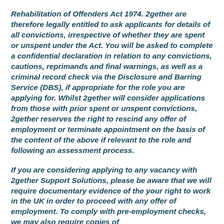Rehabilitation of Offenders Act 1974. 2gether are therefore legally entitled to ask applicants for details of all convictions, irrespective of whether they are spent or unspent under the Act. You will be asked to complete a confidential declaration in relation to any convictions, cautions, reprimands and final warnings, as well as a criminal record check via the Disclosure and Barring Service (DBS), if appropriate for the role you are applying for. Whilst 2gether will consider applications from those with prior spent or unspent convictions, 2gether reserves the right to rescind any offer of employment or terminate appointment on the basis of the content of the above if relevant to the role and following an assessment process.
If you are considering applying to any vacancy with 2gether Support Solutions, please be aware that we will require documentary evidence of the your right to work in the UK in order to proceed with any offer of employment. To comply with pre-employment checks, we may also require copies of